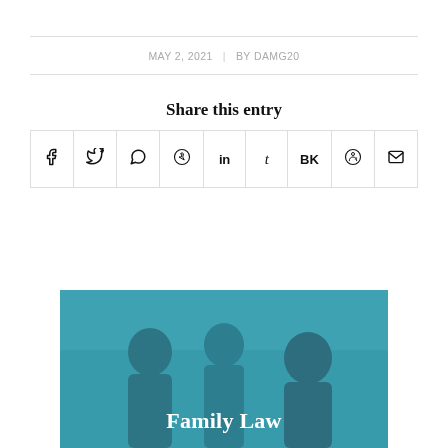MAY 2, 2021 | BY DAMG20
Share this entry
[Figure (infographic): Social share icons row: Facebook, Twitter, WhatsApp, Pinterest, LinkedIn, Tumblr, VK, Reddit, Email]
[Figure (photo): Teal-tinted photo of people in discussion, labeled 'Family Law' at bottom]